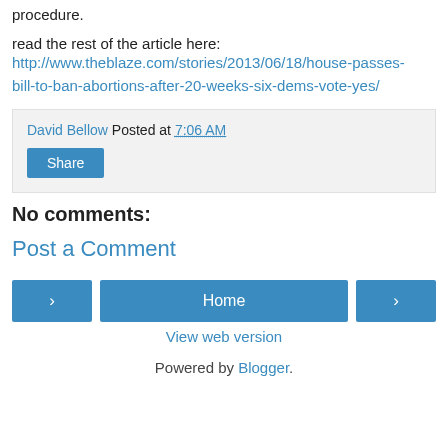procedure.
read the rest of the article here:
http://www.theblaze.com/stories/2013/06/18/house-passes-bill-to-ban-abortions-after-20-weeks-six-dems-vote-yes/
David Bellow Posted at 7:06 AM
Share
No comments:
Post a Comment
< Home >
View web version
Powered by Blogger.